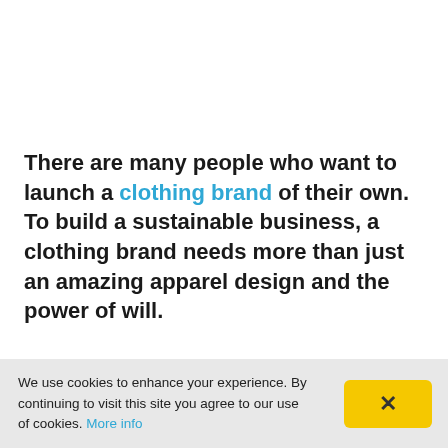There are many people who want to launch a clothing brand of their own. To build a sustainable business, a clothing brand needs more than just an amazing apparel design and the power of will.
It also requires all the elements of a successful
We use cookies to enhance your experience. By continuing to visit this site you agree to our use of cookies. More info